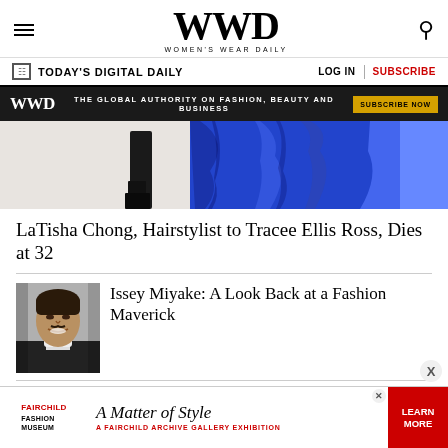WWD — Women's Wear Daily
TODAY'S DIGITAL DAILY    LOG IN  |  SUBSCRIBE
WWD  THE GLOBAL AUTHORITY ON FASHION, BEAUTY AND BUSINESS  SUBSCRIBE NOW
[Figure (photo): Person wearing a royal blue satin outfit, cropped torso and legs, with another dark-dressed figure partially visible]
LaTisha Chong, Hairstylist to Tracee Ellis Ross, Dies at 32
[Figure (photo): Black and white portrait photo of Issey Miyake, smiling]
Issey Miyake: A Look Back at a Fashion Maverick
[Figure (other): Fairchild Fashion Museum advertisement — A Matter of Style: A Fairchild Archive Gallery Exhibition. LEARN MORE button.]